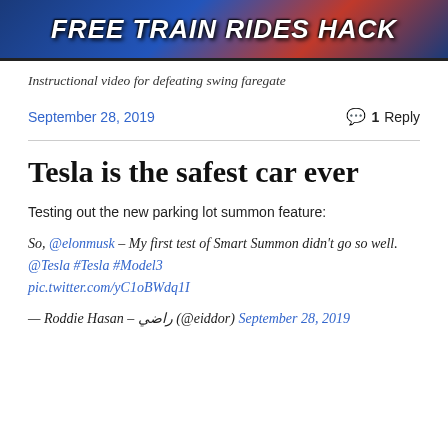[Figure (illustration): Banner image with bold italic white text reading 'Free Train Rides HACK' on a patriotic red/white/blue background]
Instructional video for defeating swing faregate
September 28, 2019   💬 1 Reply
Tesla is the safest car ever
Testing out the new parking lot summon feature:
So, @elonmusk – My first test of Smart Summon didn't go so well. @Tesla #Tesla #Model3 pic.twitter.com/yC1oBWdq1I
— Roddie Hasan – راضي (@eiddor) September 28, 2019